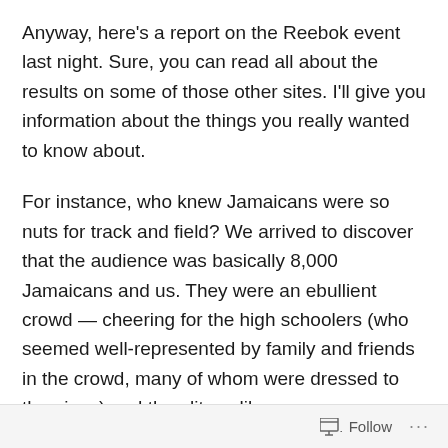Anyway, here's a report on the Reebok event last night. Sure, you can read all about the results on some of those other sites. I'll give you information about the things you really wanted to know about.
For instance, who knew Jamaicans were so nuts for track and field? We arrived to discover that the audience was basically 8,000 Jamaicans and us. They were an ebullient crowd — cheering for the high schoolers (who seemed well-represented by family and friends in the crowd, many of whom were dressed to the nines) and the elites alike.
And there were many, many Jamaican elites running, especially in the shorter events. They received enormous support, although the crowd was great in acknowledging
Follow ···